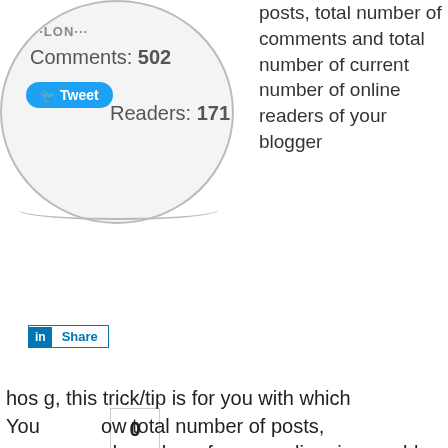[Figure (screenshot): Screenshot of a blogger widget showing stats: Comments: 502, Readers: 171, with a Tweet button overlay. Below shows a LinkedIn Share button, a share count bubble showing 0, and a Google+ Share button.]
posts, total number of comments and total number of current number of online readers of your blogger
hos g, this trick/tip is for you with which You ow total number of posts, cor and number of users online, in your blog using HTML/Javascript Widget. After the following below given steps, you will get the results as shown in below shown picture. if you want to show the statistics of your blog as shown in above picture, just follow the steps given below. Login to Your Blogger Account On Your Dashboard, Click on Layout (see below...